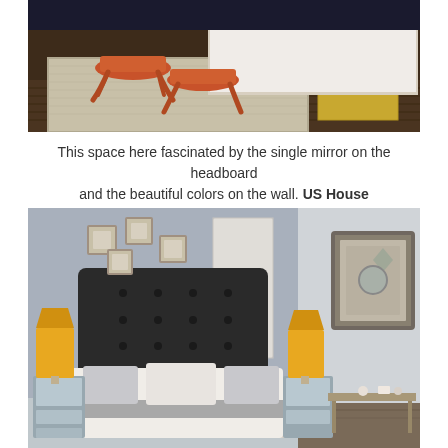[Figure (photo): Bedroom interior with two orange/rust colored upholstered stools at the foot of a bed, on a woven area rug over dark hardwood floors]
This space here fascinated by the single mirror on the headboard and the beautiful colors on the wall. US House
[Figure (photo): Elegant bedroom with dark tufted headboard, mirrored nightstands, decorative square mirrors on grey wall, and large ornate mirror on the right side wall]